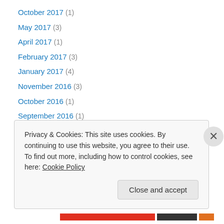October 2017 (1)
May 2017 (3)
April 2017 (1)
February 2017 (3)
January 2017 (4)
November 2016 (3)
October 2016 (1)
September 2016 (1)
August 2016 (8)
July 2016 (3)
June 2016 (5)
April 2016 (1)
March 2016 (5)
Privacy & Cookies: This site uses cookies. By continuing to use this website, you agree to their use. To find out more, including how to control cookies, see here: Cookie Policy